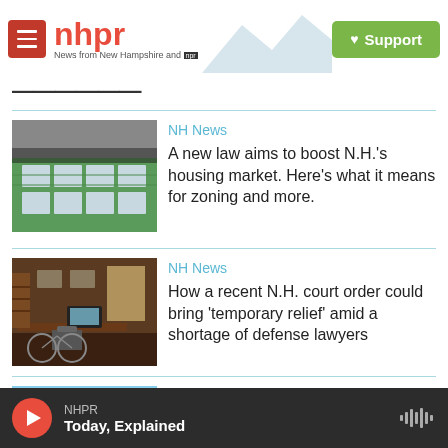NHPR - News from New Hampshire and NPR | Support
Latest Stories
[Figure (photo): Green wood-framed house under construction]
NH News
A new law aims to boost N.H.'s housing market. Here's what it means for zoning and more.
[Figure (photo): Office interior with desk, chairs and papers]
NH News
How a recent N.H. court order could bring 'temporary relief' amid a shortage of defense lawyers
[Figure (photo): Blue sky partial thumbnail]
NH News
NHPR - Today, Explained